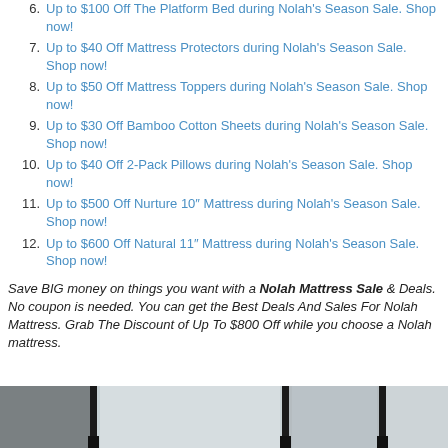6. Up to $100 Off The Platform Bed during Nolah's Season Sale. Shop now!
7. Up to $40 Off Mattress Protectors during Nolah's Season Sale. Shop now!
8. Up to $50 Off Mattress Toppers during Nolah's Season Sale. Shop now!
9. Up to $30 Off Bamboo Cotton Sheets during Nolah's Season Sale. Shop now!
10. Up to $40 Off 2-Pack Pillows during Nolah's Season Sale. Shop now!
11. Up to $500 Off Nurture 10″ Mattress during Nolah's Season Sale. Shop now!
12. Up to $600 Off Natural 11″ Mattress during Nolah's Season Sale. Shop now!
Save BIG money on things you want with a Nolah Mattress Sale & Deals. No coupon is needed. You can get the Best Deals And Sales For Nolah Mattress. Grab The Discount of Up To $800 Off while you choose a Nolah mattress.
[Figure (photo): Photo strip showing room with large windows and natural light, furniture silhouettes visible]